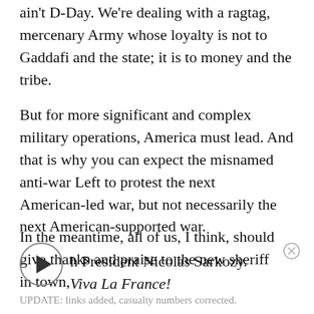ain't D-Day. We're dealing with a ragtag, mercenary Army whose loyalty is not to Gaddafi and the state; it is to money and the tribe.
But for more significant and complex military operations, America must lead. And that is why you can expect the misnamed anti-war Left to protest the next American-led war, but not necessarily the next American-supported war.
In the meantime, all of us, I think, should give thanks and praise to the new sheriff in town, French President Nicolas Sarkozy. Viva La France!
UPDATE: links added, casualty numbers corrected.